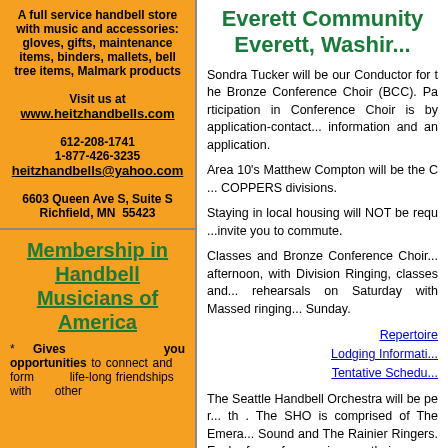A full service handbell store with music and accessories: gloves, gifts, maintenance items, binders, mallets, bell tree items, Malmark products
Visit us at www.heitzhandbells.com
612-208-1741
1-877-426-3235
heitzhandbells@yahoo.com
6603 Queen Ave S, Suite S
Richfield, MN  55423
Membership in Handbell Musicians of America
* Gives you opportunities to connect and form life-long friendships with other
Everett Community ... Everett, Washin...
Sondra Tucker will be our Conductor for the Bronze Conference Choir (BCC). Participation in Conference Choir is by application-contact... information and an application.
Area 10's Matthew Compton will be the C... COPPERS divisions.
Staying in local housing will NOT be required... invite you to commute.
Classes and Bronze Conference Choir... afternoon, with Division Ringing, classes and... rehearsals on Saturday with Massed ringing... Sunday.
Repertoire
Lodging Information
Tentative Schedule
The Seattle Handbell Orchestra will be performing... th. The SHO is comprised of The Emerald... Sound and The Rainier Ringers. Each of... perform a piece on their own.
The registration fee for the conference will be...